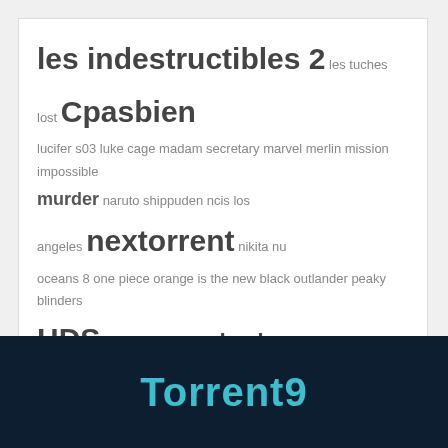[Figure (infographic): Tag cloud containing various TV show, movie, and website names in varying font sizes indicating popularity. Terms include: les indestructibles 2, les tuches lost, Cpasbien, lucifer s03, luke cage, madam secretary, marvel, merlin, mission impossible, murder, naruto shippuden, ncis los angeles, nextorrent, nikita, nu, oceans 8, one piece, orange is the new black, outlander, peaky blinders, HDS, prison break, ready player one, sans un bruit, seal team, shadowhunters, shameless, solo, south park, spartacus, spiderman, star wars, super dragon ball heroes, supernatural, taxi 5, the 100, the affair, the blacklist, the handmaids tale, the magicians, Stream Complet, the walking dead s08, thor, timeless, tomb raider, LibertyVF, vostfr, YggTorrent, windows, LibertyLand]
Torrent9